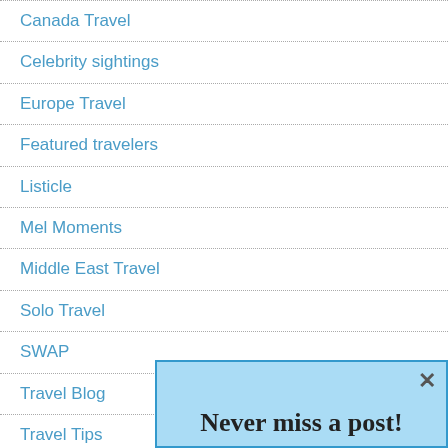Canada Travel
Celebrity sightings
Europe Travel
Featured travelers
Listicle
Mel Moments
Middle East Travel
Solo Travel
SWAP
Travel Blog
Travel Tips
USA Travel
Working
Never miss a post!